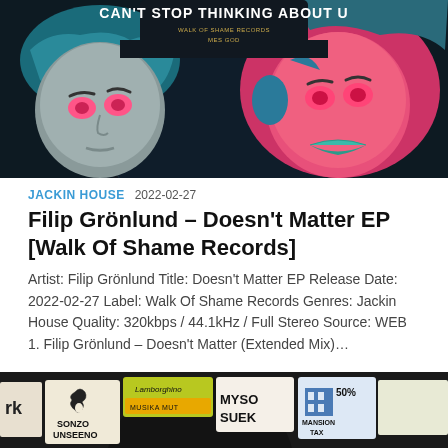[Figure (illustration): Album cover art for 'Can't Stop Thinking About U' by Walk Of Shame Records / MES GOD. Features illustrated faces with pink eyes and teal/blue tones, one face pink-toned, against a dark circular background.]
JACKIN HOUSE  2022-02-27
Filip Grönlund – Doesn't Matter EP [Walk Of Shame Records]
Artist: Filip Grönlund Title: Doesn't Matter EP Release Date: 2022-02-27 Label: Walk Of Shame Records Genres: Jackin House Quality: 320kbps / 44.1kHz / Full Stereo Source: WEB 1. Filip Grönlund – Doesn't Matter (Extended Mix)…
[Figure (photo): Bottom partial image showing stickers on a dark surface including 'SONZO UNSEENO' with flame logo, Lamborghino text, 'MYSO SUEK', '50% MANSION TAX' with building graphic, on what appears to be a vinyl record or dark urban surface.]